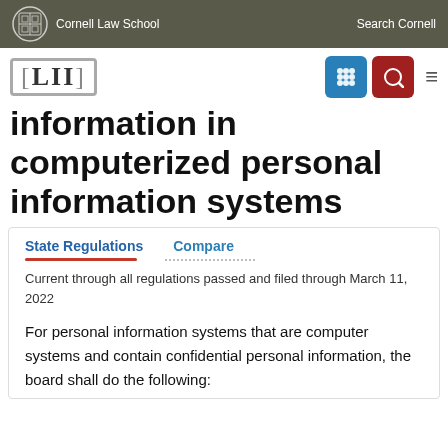Cornell Law School   Search Cornell
[Figure (logo): LII Legal Information Institute logo with [LII] bracket text]
information in computerized personal information systems
State Regulations   Compare
Current through all regulations passed and filed through March 11, 2022
For personal information systems that are computer systems and contain confidential personal information, the board shall do the following: